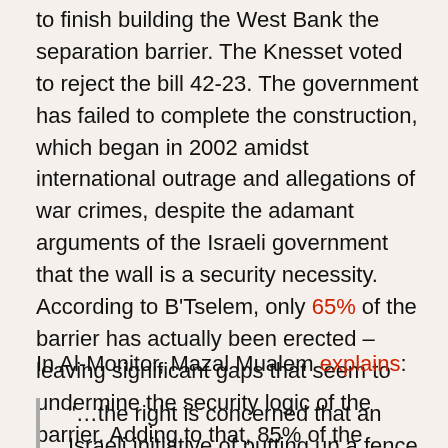to finish building the West Bank the separation barrier. The Knesset voted to reject the bill 42-23. The government has failed to complete the construction, which began in 2002 amidst international outrage and allegations of war crimes, despite the adamant arguments of the Israeli government that the wall is a security necessity. According to B'Tselem, only 65% of the barrier has actually been erected – leaving significant gaps that seem to undermine the security logic of the barrier. Adding to that, 85% of the barrier is located inside West Bank territory, creating one form of de facto annexation of the areas on the Israeli side of the barrier, which include a long list of Israeli settlements and surrounding lands for their expansion.
In Al-Monitor, Mazal Mualem explains:
"…the right is concerned that an Israeli initiative of putting up a fence that separates West Bank